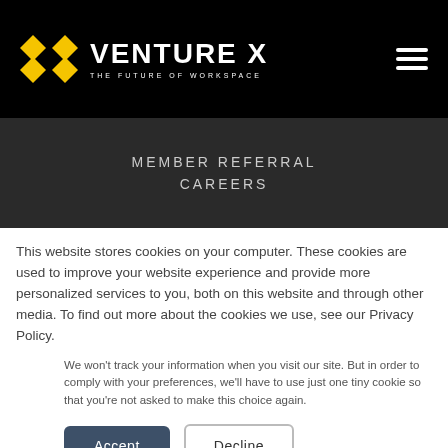VENTURE X — THE FUTURE OF WORKSPACE
MEMBER REFERRAL
CAREERS
This website stores cookies on your computer. These cookies are used to improve your website experience and provide more personalized services to you, both on this website and through other media. To find out more about the cookies we use, see our Privacy Policy.
We won't track your information when you visit our site. But in order to comply with your preferences, we'll have to use just one tiny cookie so that you're not asked to make this choice again.